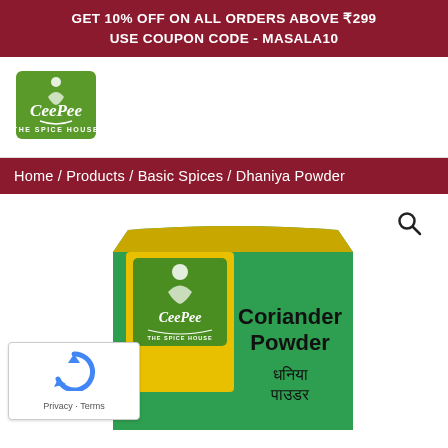GET 10% OFF ON ALL ORDERS ABOVE ₹299
USE COUPON CODE - MASALA10
[Figure (logo): CeePee The Spice House logo - green square with brand name and figure illustration]
Home / Products / Basic Spices / Dhaniya Powder
[Figure (photo): CeePee Coriander Powder (Dhaniya Powder) product package - green and yellow bag with brand logo and Hindi text धनिया पाउडर]
Privacy · Terms